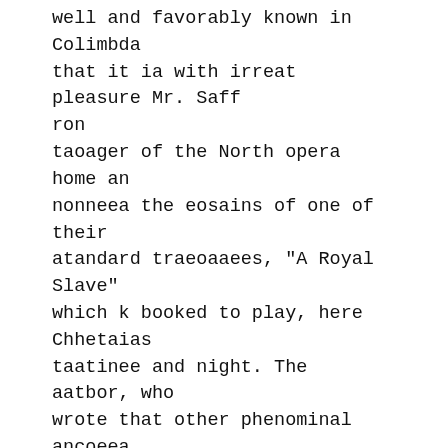well and favorably known in Colimbda that it ia with irreat pleasure Mr. Saff ron
taoager of the North opera home an nonneea the eosains of one of their atandard traeoaaees, "A Royal Slave" which k booked to play, here Chhetaias taatinee and night. The aatbor, who wrote that other phenominal ancoeea, "The Holy City" which we also hope to thu aeaaon, has ehosen for the action of the piece the most romantic penod in the history of Mexico, the brief reign of the unfortunate Maximillian. The character of Agnlia, the desoendent of the Monteznmas, the last of a race now extinct is a poetio creation whiob ap peals to oar uugiaation. The other characters of a long and interestiog oas t